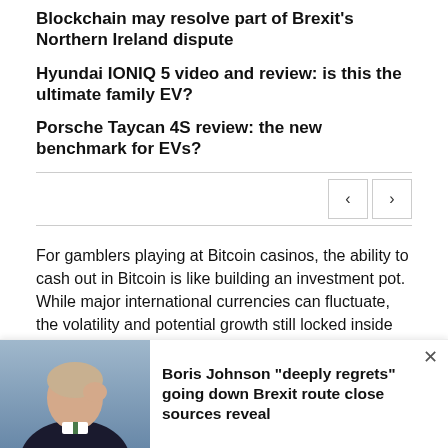Blockchain may resolve part of Brexit’s Northern Ireland dispute
Hyundai IONIQ 5 video and review: is this the ultimate family EV?
Porsche Taycan 4S review: the new benchmark for EVs?
For gamblers playing at Bitcoin casinos, the ability to cash out in Bitcoin is like building an investment pot. While major international currencies can fluctuate, the volatility and potential growth still locked inside the Bitcoin market could see the value of your withdrawals
Boris Johnson “deeply regrets” going down Brexit route close sources reveal